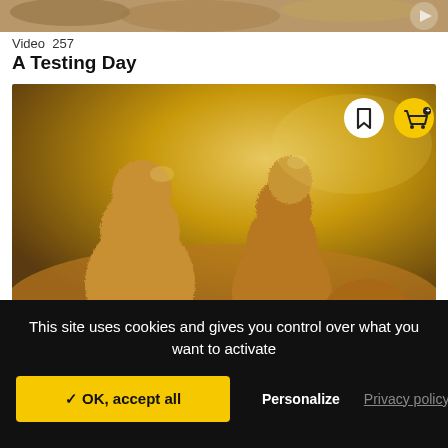[Figure (photo): Partial top image strip showing sandy/golden textured background]
Video  257
A Testing Day
[Figure (photo): Main video thumbnail showing sandy textured blob-like figures resembling people on a golden-brown background, with bookmark and cart buttons overlaid]
This site uses cookies and gives you control over what you want to activate
✓ OK, accept all
Personalize
Privacy policy